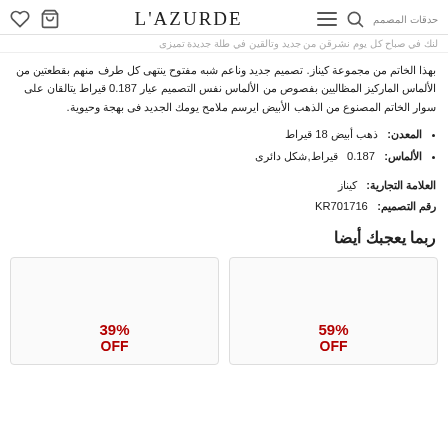L'AZURDE — header with bag, heart, search, menu icons
لنك في صباح كل يوم نشرقن من جديد وتالقين في طلة جديدة تميزى
بهذا الخاتم من مجموعة كيناز. تصميم جديد وناعم شبه مفتوح ينتهى كل طرف منهم بقطعتين من الألماس الماركيز المظاليين بفصوص من الألماس نفس التصميم عيار 0.187 قيراط يتالقان على سوار الخاتم المصنوع من الذهب الأبيض ايرسم ملامح يومك الجديد فى بهجة وحيوية.
المعدن: ذهب أبيض 18 قيراط
الألماس: 0.187 قيراط,شكل دائرى
العلامة التجارية: كيناز
رقم التصميم: KR701716
ربما يعجبك أيضا
[Figure (other): Product card with 39% OFF discount badge]
[Figure (other): Product card with 59% OFF discount badge]